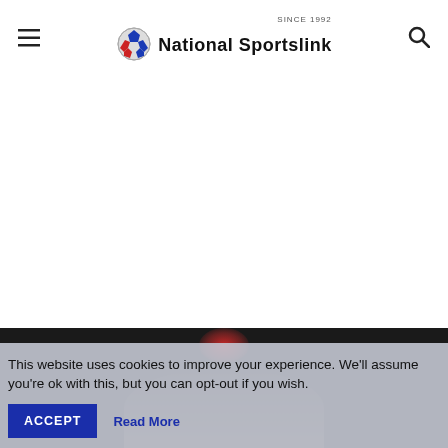National Sportslink — Since 1992
[Figure (screenshot): Dark image area at the bottom of the page showing a person against a dark background with a red glow at the top center]
This website uses cookies to improve your experience. We'll assume you're ok with this, but you can opt-out if you wish.
ACCEPT   Read More